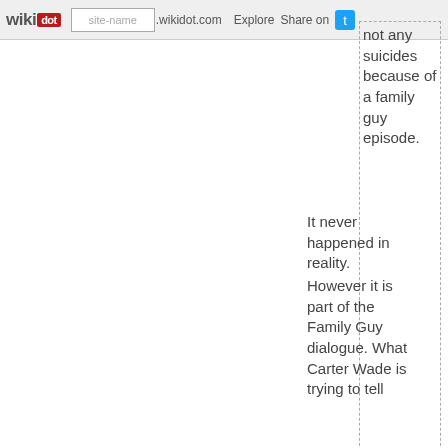wikidot | site-name .wikidot.com | Explore | Share on
not any suicides because of a family guy episode.
It never happened in reality.
However it is part of the Family Guy dialogue. What Carter Wade is trying to tell